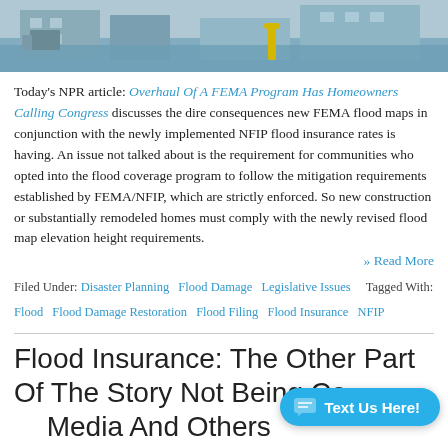[Figure (photo): Flooded street scene with buildings partially submerged in water]
Today's NPR article: Overhaul Of A FEMA Program Has Homeowners Calling Congress discusses the dire consequences new FEMA flood maps in conjunction with the newly implemented NFIP flood insurance rates is having. An issue not talked about is the requirement for communities who opted into the flood coverage program to follow the mitigation requirements established by FEMA/NFIP, which are strictly enforced. So new construction or substantially remodeled homes must comply with the newly revised flood map elevation height requirements.
» Read More
Filed Under: Disaster Planning  Flood Damage  Legislative Issues  Tagged With: Flood  Flood Damage Restoration  Flood Filing  Flood Insurance  NFIP
Flood Insurance: The Other Part Of The Story Not Being Covered By Media And Others
by Charles R. Tutwiler on 2/5/2014